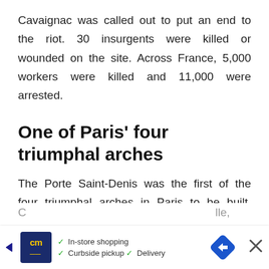Cavaignac was called out to put an end to the riot. 30 insurgents were killed or wounded on the site. Across France, 5,000 workers were killed and 11,000 were arrested.
One of Paris' four triumphal arches
The Porte Saint-Denis was the first of the four triumphal arches in Paris to be built. The three others were the Arc de Triomphe du Carrousel, ...